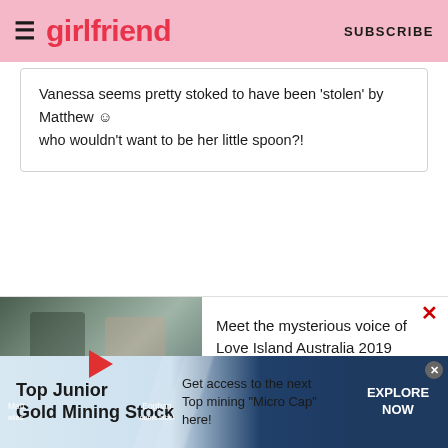girlfriend SUBSCRIBE
Vanessa seems pretty stoked to have been 'stolen' by Matthew 😊 who wouldn't want to be her little spoon?!
[Figure (screenshot): Video thumbnail showing two men (Matt and Eoghan) standing outside a building, with a red play button overlay]
Meet the mysterious voice of Love Island Australia 2019
[Figure (infographic): Advertisement banner: Top Junior Gold Mining Stock - Get access to the next Top mining Micro Cap here! EXPLORE NOW]